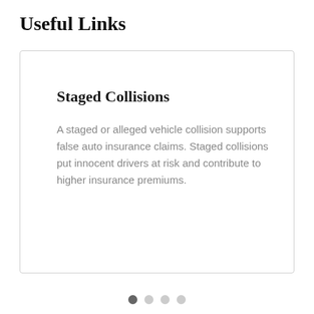Useful Links
Staged Collisions
A staged or alleged vehicle collision supports false auto insurance claims. Staged collisions put innocent drivers at risk and contribute to higher insurance premiums.